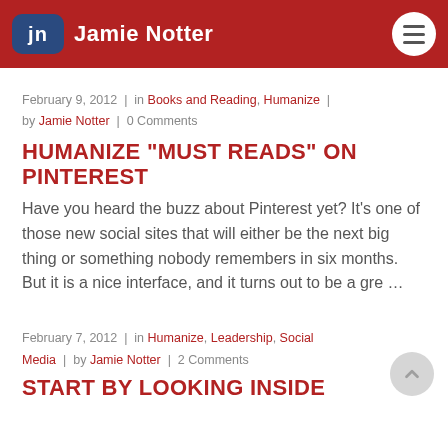Jamie Notter
February 9, 2012 | in Books and Reading, Humanize | by Jamie Notter | 0 Comments
HUMANIZE "MUST READS" ON PINTEREST
Have you heard the buzz about Pinterest yet? It's one of those new social sites that will either be the next big thing or something nobody remembers in six months. But it is a nice interface, and it turns out to be a gre ...
February 7, 2012 | in Humanize, Leadership, Social Media | by Jamie Notter | 2 Comments
START BY LOOKING INSIDE